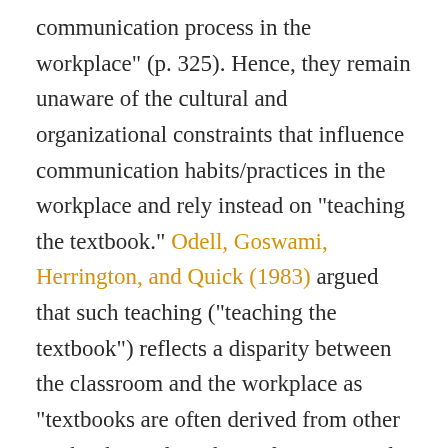communication process in the workplace" (p. 325). Hence, they remain unaware of the cultural and organizational constraints that influence communication habits/practices in the workplace and rely instead on "teaching the textbook." Odell, Goswami, Herrington, and Quick (1983) argued that such teaching ("teaching the textbook") reflects a disparity between the classroom and the workplace as "textbooks are often derived from other textbooks, and teachers of writing tend to reflect the values of their own teachers rather than their understanding of what writers actually do" (p. 17). Anderson (1985) suggested that teachers of career-related writing can gain important insights into ways to design their courses by understanding and learning the "purposes